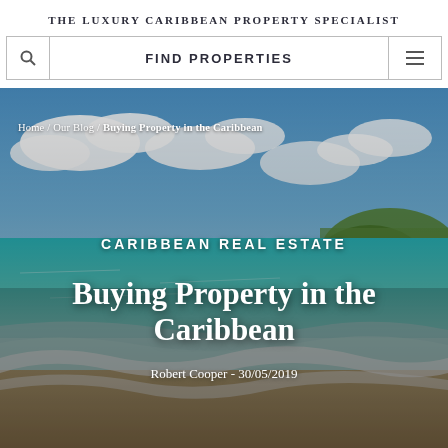THE LUXURY CARIBBEAN PROPERTY SPECIALIST
FIND PROPERTIES
[Figure (screenshot): Hero image of a Caribbean beach scene with turquoise water, white sand, blue sky with clouds, and a green island headland in the background. Overlaid with breadcrumb navigation, category label, article title, and author/date.]
Home / Our Blog / Buying Property in the Caribbean
CARIBBEAN REAL ESTATE
Buying Property in the Caribbean
Robert Cooper - 30/05/2019